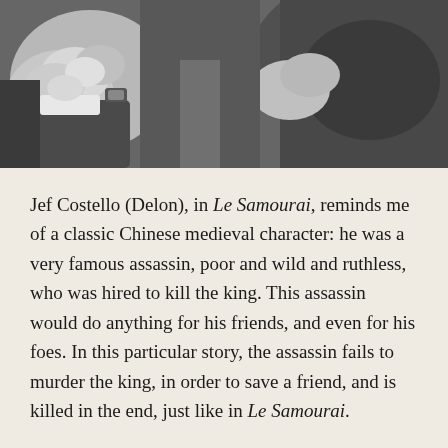[Figure (photo): Black and white photograph showing a close-up of hands, appearing to show two people in close physical contact or a struggle, dressed in suits/coats.]
Jef Costello (Delon), in Le Samourai, reminds me of a classic Chinese medieval character: he was a very famous assassin, poor and wild and ruthless, who was hired to kill the king. This assassin would do anything for his friends, and even for his foes. In this particular story, the assassin fails to murder the king, in order to save a friend, and is killed in the end, just like in Le Samourai.
I believe that this connection I have with Melville also has to do with the fact that I was influenced by existentialism in the fifties and sixties. To me, Melville's movies are